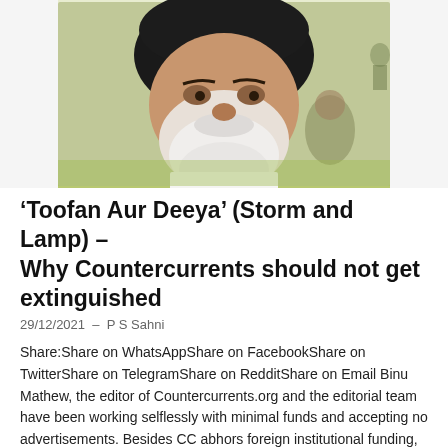[Figure (photo): Close-up photograph of an elderly Sikh man wearing a dark turban and white beard, outdoors with a yellow-green background.]
‘Toofan Aur Deeya’ (Storm and Lamp) – Why Countercurrents should not get extinguished
29/12/2021  –  P S Sahni
Share:Share on WhatsAppShare on FacebookShare on TwitterShare on TelegramShare on RedditShare on Email Binu Mathew, the editor of Countercurrents.org and the editorial team have been working selflessly with minimal funds and accepting no advertisements. Besides CC abhors foreign institutional funding, corporate funding or government aid. It has been in existence for about two decades and standing on the side of [Read More...]